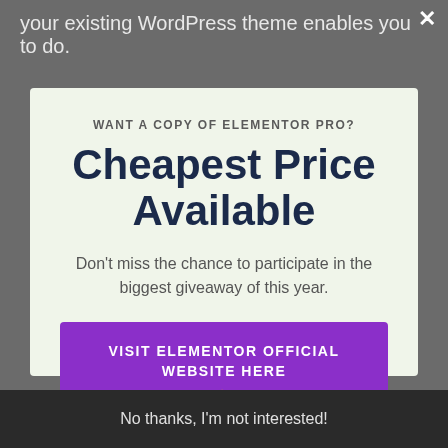your existing WordPress theme enables you to do.
[Figure (screenshot): Close button (×) in top right corner of modal overlay]
WANT A COPY OF ELEMENTOR PRO?
Cheapest Price Available
Don't miss the chance to participate in the biggest giveaway of this year.
VISIT ELEMENTOR OFFICIAL WEBSITE HERE 👉
No thanks, I'm not interested!